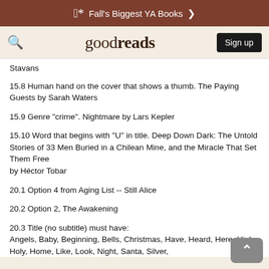Fall's Biggest YA Books
goodreads  Sign up
Stavans
15.8 Human hand on the cover that shows a thumb. The Paying Guests by Sarah Waters
15.9 Genre "crime". Nightmare by Lars Kepler
15.10 Word that begins with "U" in title. Deep Down Dark: The Untold Stories of 33 Men Buried in a Chilean Mine, and the Miracle That Set Them Free
by Héctor Tobar
20.1 Option 4 from Aging List -- Still Alice
20.2 Option 2, The Awakening
20.3 Title (no subtitle) must have:
Angels, Baby, Beginning, Bells, Christmas, Have, Heard, Here, High, Holy, Home, Like, Look, Night, Santa, Silver,